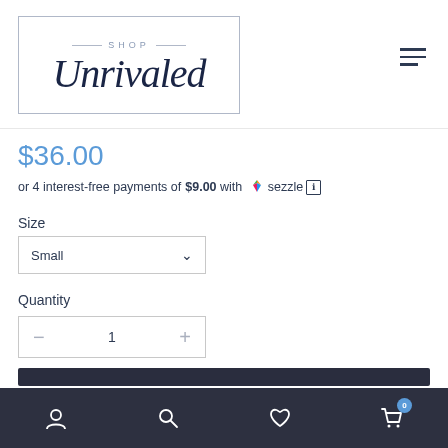[Figure (logo): Shop Unrivaled logo with script font inside a rectangular border, 'SHOP' text above in small caps with decorative lines]
$36.00
or 4 interest-free payments of $9.00 with sezzle ℹ
Size
Small (dropdown)
Quantity
- 1 +
Account Search Wishlist Cart (0)